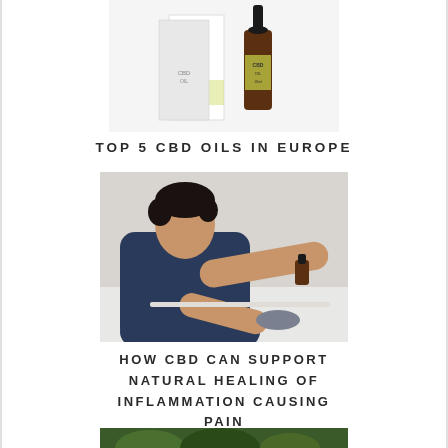[Figure (photo): CBD oil bottle and packaging product photo on white background]
TOP 5 CBD OILS IN EUROPE
[Figure (photo): Man in dark blue shirt applying or examining something on his arm, seated, white background]
HOW CBD CAN SUPPORT NATURAL HEALING OF INFLAMMATION CAUSING PAIN
[Figure (photo): Partial green nature/plant image at bottom of page]